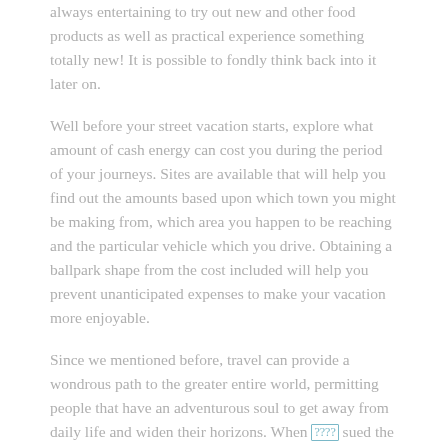always entertaining to try out new and other food products as well as practical experience something totally new! It is possible to fondly think back into it later on.
Well before your street vacation starts, explore what amount of cash energy can cost you during the period of your journeys. Sites are available that will help you find out the amounts based upon which town you might be making from, which area you happen to be reaching and the particular vehicle which you drive. Obtaining a ballpark shape from the cost included will help you prevent unanticipated expenses to make your vacation more enjoyable.
Since we mentioned before, travel can provide a wondrous path to the greater entire world, permitting people that have an adventurous soul to get away from daily life and widen their horizons. When [????] sued the following tips, you can continue an exciting experience that may load your way of life with excellent journeys.